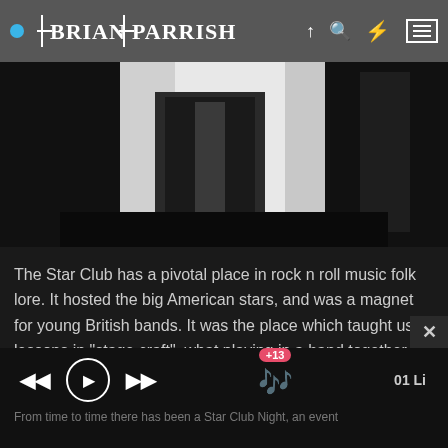BRIAN PARRISH
[Figure (photo): Black and white photo of band members' lower bodies, showing legs and torsos in dark clothing against a white background]
The Star Club has a pivotal place in rock n roll music folk lore. It hosted the big American stars, and was a magnet for young British bands. It was the place which taught us lessons in "stage craft", what playing in a band together was really about, whilst giving us the opportunity night after night to improve our musical skills. It is where many of the musicians I most admire began their professional journeys and has given me some precious life long friends.
From time to time there has been a Star Club Night, an event... +13  01 Li